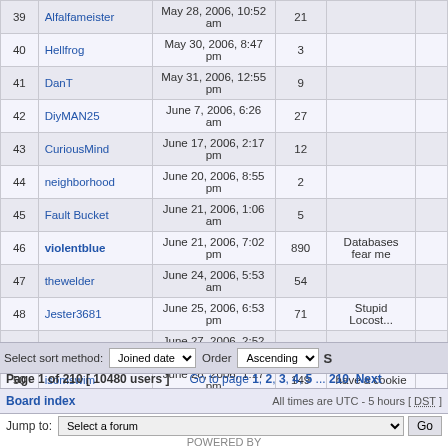| # | Username | Joined | Posts | Title |  |
| --- | --- | --- | --- | --- | --- |
| 39 | Alfalfameister | May 28, 2006, 10:52 am | 21 |  |  |
| 40 | Hellfrog | May 30, 2006, 8:47 pm | 3 |  |  |
| 41 | DanT | May 31, 2006, 12:55 pm | 9 |  |  |
| 42 | DiyMAN25 | June 7, 2006, 6:26 am | 27 |  |  |
| 43 | CuriousMind | June 17, 2006, 2:17 pm | 12 |  |  |
| 44 | neighborhood | June 20, 2006, 8:55 pm | 2 |  |  |
| 45 | Fault Bucket | June 21, 2006, 1:06 am | 5 |  |  |
| 46 | violentblue | June 21, 2006, 7:02 pm | 890 | Databases fear me |  |
| 47 | thewelder | June 24, 2006, 5:53 am | 54 |  |  |
| 48 | Jester3681 | June 25, 2006, 6:53 pm | 71 | Stupid Locost... |  |
| 49 | 98 gt | June 27, 2006, 2:52 pm | 331 |  |  |
| 50 | isomswim | June 28, 2006, 1:17 pm | 149 | have a cookie |  |
Select sort method: Joined date  Order  Ascending  S
Page 1 of 210 [ 10480 users ]  Go to page 1, 2, 3, 4, 5 ... 210  Next
Board index  All times are UTC - 5 hours [ DST ]
Jump to: Select a forum  Go
POWERED BY